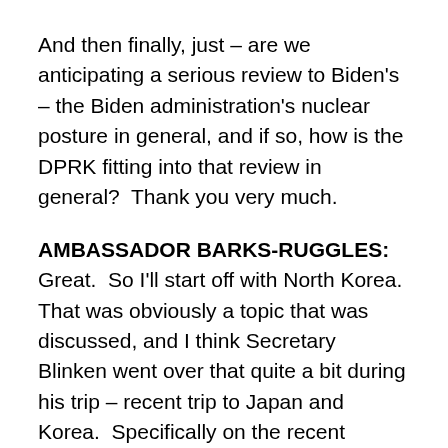And then finally, just – are we anticipating a serious review to Biden's – the Biden administration's nuclear posture in general, and if so, how is the DPRK fitting into that review in general?  Thank you very much.
AMBASSADOR BARKS-RUGGLES:  Great.  So I'll start off with North Korea.  That was obviously a topic that was discussed, and I think Secretary Blinken went over that quite a bit during his trip – recent trip to Japan and Korea.  Specifically on the recent provocations from the DPRK, we condemn those very robustly, their destabilizing ballistic missile launches.  Those launches obviously violate multiple UN Security Council resolutions and threaten the region and the broader international community.  And we've been clear about our commitment to defend the Republic of Korea and